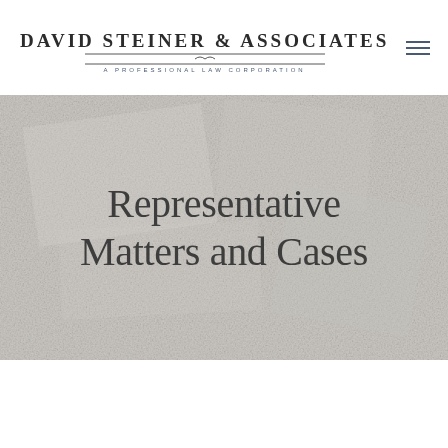David Steiner & Associates — A Professional Law Corporation
Representative Matters and Cases